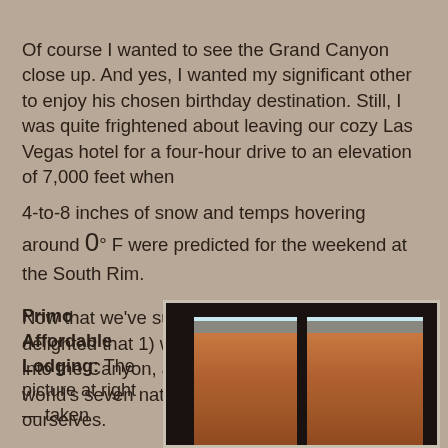Of course I wanted to see the Grand Canyon close up. And yes, I wanted my significant other to enjoy his chosen birthday destination. Still, I was quite frightened about leaving our cozy Las Vegas hotel for a four-hour drive to an elevation of 7,000 feet when 4-to-8 inches of snow and temps hovering around 0° F were predicted for the weekend at the South Rim.

Now that we've survived the adventure, I'm delighted that 1) we didn't careen off an icy road into the Canyon, and 2) we had one of the world's seven natural wonders almost to ourselves.
Primo Affordable Lodging: The picture at right — taken
[Figure (photo): View of the Grand Canyon through a dark window frame, showing the canyon's red and orange rock layers with a blue sky at the top.]